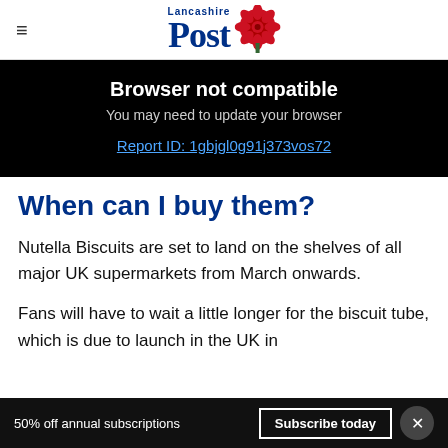Lancashire Post
Browser not compatible
You may need to update your browser
Report ID: 1gbjgl0g91j373vos72
When can I buy them?
Nutella Biscuits are set to land on the shelves of all major UK supermarkets from March onwards.
Fans will have to wait a little longer for the biscuit tube, which is due to launch in the UK in
50% off annual subscriptions   Subscribe today